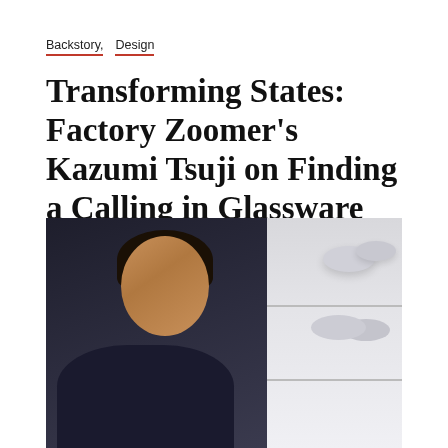Backstory, Design
Transforming States: Factory Zoomer's Kazumi Tsuji on Finding a Calling in Glassware
[Figure (photo): Portrait photograph of Kazumi Tsuji, a woman with short dark hair wearing a dark navy sweater, smiling, photographed indoors with white shelving holding ceramic bowls visible in the background to the right, and a dark background to the left.]